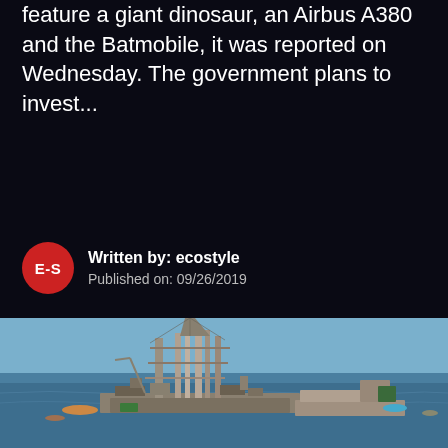feature a giant dinosaur, an Airbus A380 and the Batmobile, it was reported on Wednesday. The government plans to invest...
Written by: ecostyle
Published on: 09/26/2019
[Figure (photo): Aerial photograph of a large offshore oil drilling platform surrounded by the ocean, with smaller vessels nearby and a dock structure visible to the right.]